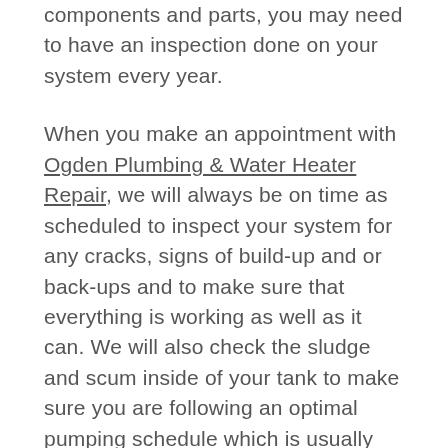components and parts, you may need to have an inspection done on your system every year.
When you make an appointment with Ogden Plumbing & Water Heater Repair, we will always be on time as scheduled to inspect your system for any cracks, signs of build-up and or back-ups and to make sure that everything is working as well as it can. We will also check the sludge and scum inside of your tank to make sure you are following an optimal pumping schedule which is usually every three to five years.
Our inspections include: making sure that all parts of your septic system are working as they should be. If we find any cracked or broken pipes, leaks or parts that can not be repaired we will make the repairs and or replace any parts as needed to be sure that we leave your system in